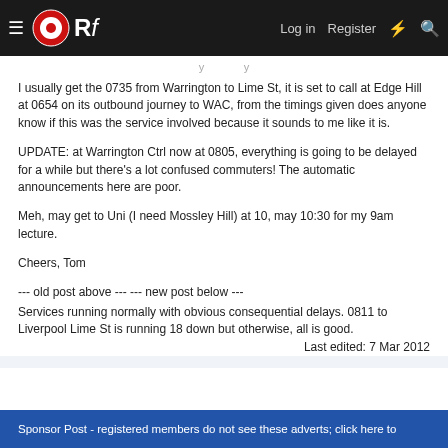ORf — Log in  Register
I usually get the 0735 from Warrington to Lime St, it is set to call at Edge Hill at 0654 on its outbound journey to WAC, from the timings given does anyone know if this was the service involved because it sounds to me like it is.
UPDATE: at Warrington Ctrl now at 0805, everything is going to be delayed for a while but there's a lot confused commuters! The automatic announcements here are poor.
Meh, may get to Uni (I need Mossley Hill) at 10, may 10:30 for my 9am lecture.
Cheers, Tom
--- old post above --- --- new post below ---
Services running normally with obvious consequential delays. 0811 to Liverpool Lime St is running 18 down but otherwise, all is good.
Last edited: 7 Mar 2012
Sponsor Post - registered members do not see these adverts; click here to